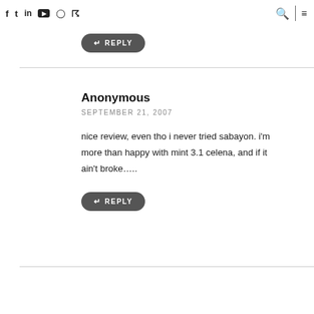f  t  in  yt  inst  rss  [search] [menu]
↩ REPLY
Anonymous
SEPTEMBER 21, 2007
nice review, even tho i never tried sabayon. i'm more than happy with mint 3.1 celena, and if it ain't broke…..
↩ REPLY